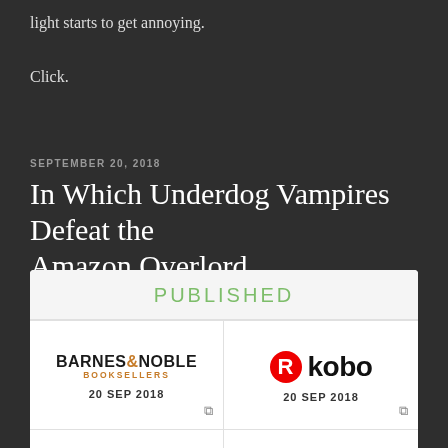light starts to get annoying.
Click.
SEPTEMBER 20, 2018
In Which Underdog Vampires Defeat the Amazon Overlord
[Figure (infographic): Published widget showing book availability on Barnes & Noble, Kobo, iBooks, and Tolino, each with date 20 SEP 2018]